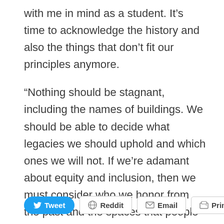with me in mind as a student. It’s time to acknowledge the history and also the things that don’t fit our principles anymore.
“Nothing should be stagnant, including the names of buildings. We should be able to decide what legacies we should uphold and which ones we will not. If we’re adamant about equity and inclusion, then we must consider who we honor from the past and the spaces that people on campus today are being given.”
Tweet | Reddit | Email | Print